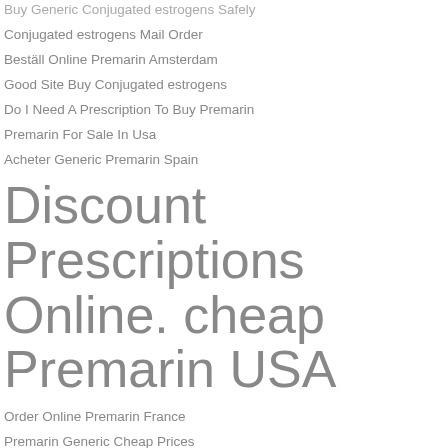Buy Generic Conjugated estrogens Safely
Conjugated estrogens Mail Order
Beställ Online Premarin Amsterdam
Good Site Buy Conjugated estrogens
Do I Need A Prescription To Buy Premarin
Premarin For Sale In Usa
Acheter Generic Premarin Spain
Discount Prescriptions Online. cheap Premarin USA
Order Online Premarin France
Premarin Generic Cheap Prices
Without Prescription Conjugated estrogens Generic
Premarin Pharmacy Cost